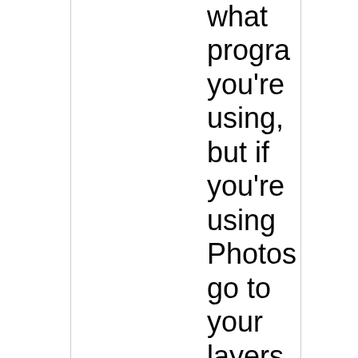what program you're using, but if you're using Photoshop go to your layers palette click on the layer you want to change and right click and select "blend